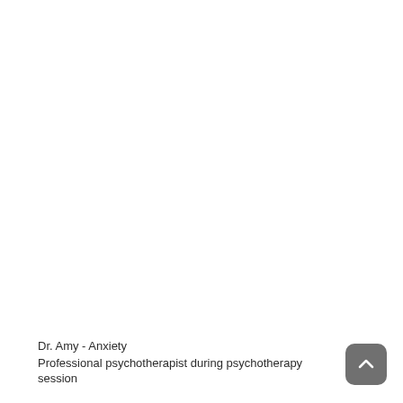[Figure (photo): Mostly white/blank area representing an image placeholder for a professional psychotherapist during a psychotherapy session.]
Dr. Amy - Anxiety
Professional psychotherapist during psychotherapy session